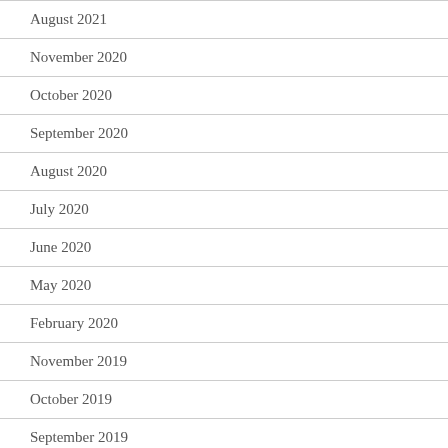August 2021
November 2020
October 2020
September 2020
August 2020
July 2020
June 2020
May 2020
February 2020
November 2019
October 2019
September 2019
August 2019